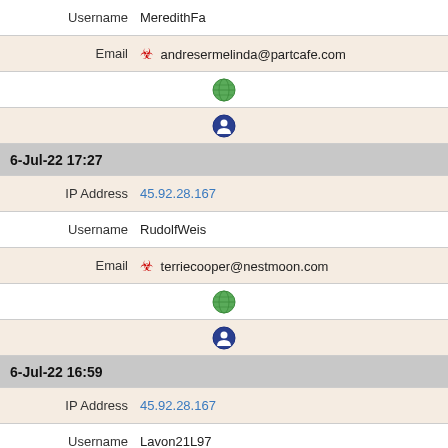| Username | MeredithFa |
| Email | ☣ andresermelinda@partcafe.com |
| [globe icon] |  |
| [person icon] |  |
| 6-Jul-22 17:27 |  |
| IP Address | 45.92.28.167 |
| Username | RudolfWeis |
| Email | ☣ terriecooper@nestmoon.com |
| [globe icon] |  |
| [person icon] |  |
| 6-Jul-22 16:59 |  |
| IP Address | 45.92.28.167 |
| Username | Lavon21L97 |
| Email | ☣ donnamaxwell@partcafe.com |
| [globe icon] |  |
| [person icon] |  |
| 6-Jul-22 15:22 |  |